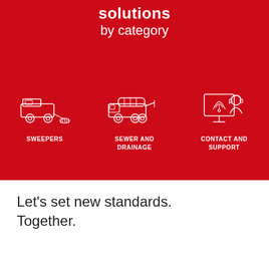solutions by category
[Figure (illustration): Three white line icons on red background: a street sweeper vehicle labeled SWEEPERS, a sewer/drainage truck labeled SEWER AND DRAINAGE, and a customer support agent at a monitor labeled CONTACT AND SUPPORT]
Let's set new standards. Together.